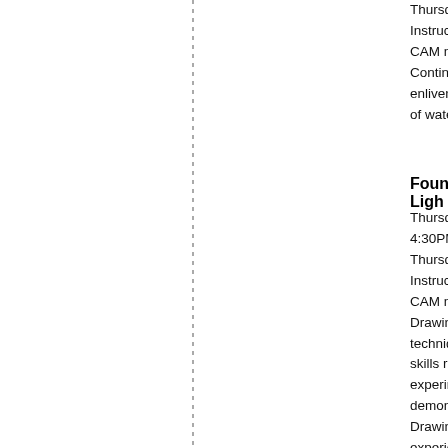Thursdays, April 7- May 5
Instructor: Janice Castiglione
CAM members: $193.50; Non-me...
Continue to develop your waterco...
enliven your paintings as you deve...
of watercolor and when to use we...
Foundations of Drawing 2 – Ligh...
Thursday, 5/5/2022
4:30PM-6:30PM
Thursdays, April 7- May 5
Instructor: Antoinette Vogt
CAM member: $126; Non-membe...
Drawing from still life, students will...
technique rendering form. This 5 w...
skills rendering value to represent...
experiment with a variety of mate...
demonstrated. This course is desig...
Drawing and is appropriate for stu...
experience.